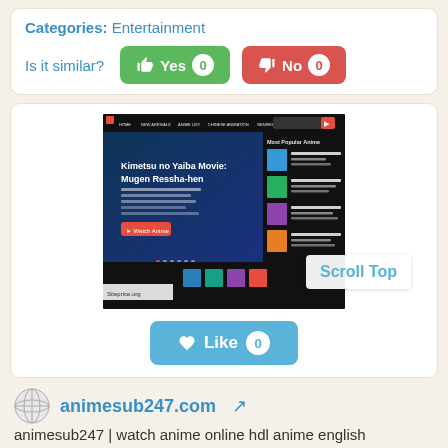Categories: Entertainment
Is it similar? Yes 0 No 0
[Figure (screenshot): Screenshot of animesub247.com website showing an anime streaming site with dark theme, featuring Kimetsu no Yaiba Movie: Mugen Ressha-hen banner and Most Popular Anime sidebar. Watermark: Siteprice.org. Scroll Top badge visible.]
Like 0
animesub247.com
animesub247 | watch anime online hdl anime english